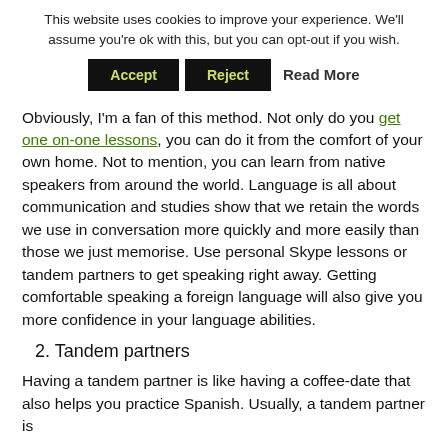This website uses cookies to improve your experience. We'll assume you're ok with this, but you can opt-out if you wish.
Accept | Reject | Read More
Obviously, I'm a fan of this method. Not only do you get one on-one lessons, you can do it from the comfort of your own home. Not to mention, you can learn from native speakers from around the world. Language is all about communication and studies show that we retain the words we use in conversation more quickly and more easily than those we just memorise. Use personal Skype lessons or tandem partners to get speaking right away. Getting comfortable speaking a foreign language will also give you more confidence in your language abilities.
2. Tandem partners
Having a tandem partner is like having a coffee-date that also helps you practice Spanish. Usually, a tandem partner is